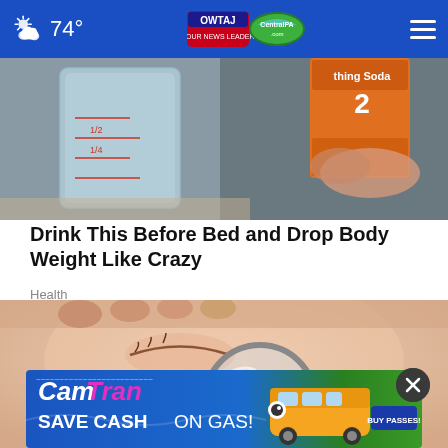74° WTAJ CentralPA.com
[Figure (photo): Close-up photo of a glass measuring cup and a box of baking soda on a counter]
Drink This Before Bed and Drop Body Weight Like Crazy
Health
[Figure (photo): Close-up photo of a person's face with a magnifying glass held up near it]
[Figure (photo): CamTran advertisement banner: SAVE CASH ON GAS! BUY PASSES!]